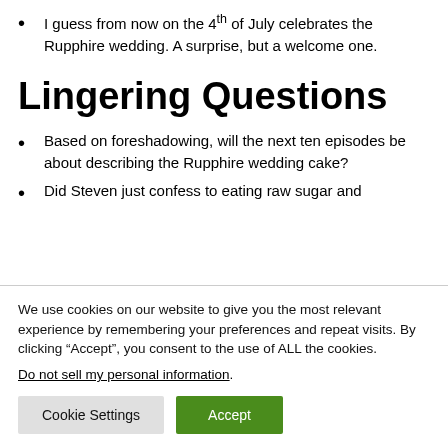I guess from now on the 4th of July celebrates the Rupphire wedding. A surprise, but a welcome one.
Lingering Questions
Based on foreshadowing, will the next ten episodes be about describing the Rupphire wedding cake?
Did Steven just confess to eating raw sugar and
We use cookies on our website to give you the most relevant experience by remembering your preferences and repeat visits. By clicking “Accept”, you consent to the use of ALL the cookies.
Do not sell my personal information.